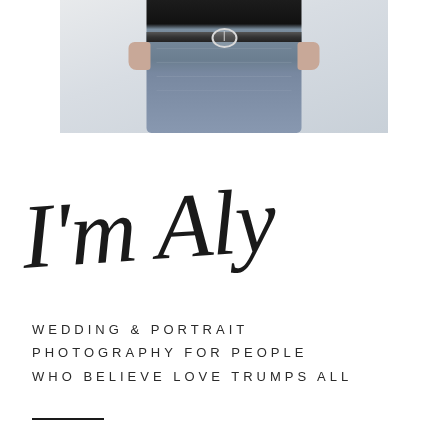[Figure (photo): Cropped photo of a person wearing dark top and light blue jeans with a circular belt buckle, hands on hips, shown from waist down]
I'm Aly
WEDDING & PORTRAIT PHOTOGRAPHY FOR PEOPLE WHO BELIEVE LOVE TRUMPS ALL